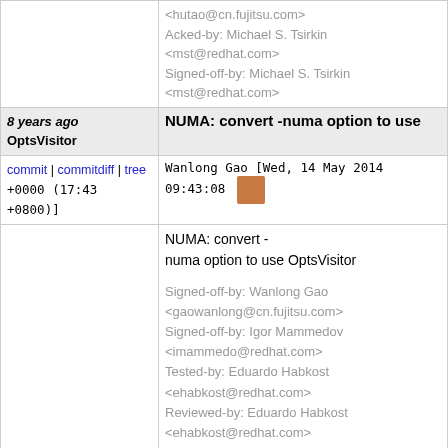<hutao@cn.fujitsu.com> Acked-by: Michael S. Tsirkin <mst@redhat.com> Signed-off-by: Michael S. Tsirkin <mst@redhat.com>
8 years ago OptsVisitor | NUMA: convert -numa option to use
commit | commitdiff | tree Wanlong Gao [Wed, 14 May 2014 09:43:08 +0000 (17:43 +0800)]
NUMA: convert -numa option to use OptsVisitor

Signed-off-by: Wanlong Gao <gaowanlong@cn.fujitsu.com> Signed-off-by: Igor Mammedov <imammedo@redhat.com> Tested-by: Eduardo Habkost <ehabkost@redhat.com> Reviewed-by: Eduardo Habkost <ehabkost@redhat.com> Signed-off-by: Paolo Bonzini <pbonzini@redhat.com> Signed-off-by: Hu Tao <hutao@cn.fujitsu.com> Acked-by: Michael S. Tsirkin <mst@redhat.com> Signed-off-by: Michael S. Tsirkin